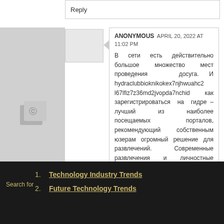Reply
ANONYMOUS  APRIL 20, 2022 AT 11:02 PM
В сети есть действительно большое множество мест проведения досуга. И hydraclubbioknikokex7njhwuahc2l67lfiz7z36md2jvopda7nchid как зарегистрироваться на гидре – лучший из наиболее посещаемых порталов, рекомендующий собственным юзерам огромный решение для развлечений. Современные развлечения и личностные взаимосвязи среди людей дает возможность устанавливать объединения товарищей по определенным сферам.
Search for
1. Technology Industry Trends
2. Future Technology Trends